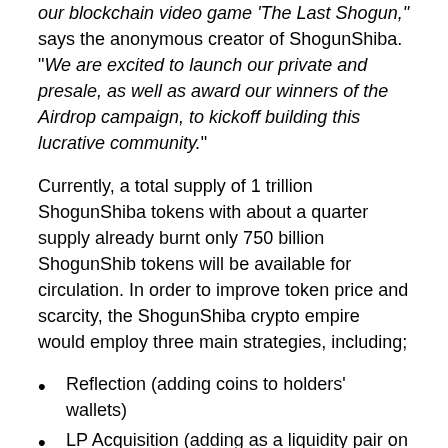our blockchain video game 'The Last Shogun," says the anonymous creator of ShogunShiba. "We are excited to launch our private and presale, as well as award our winners of the Airdrop campaign, to kickoff building this lucrative community."
Currently, a total supply of 1 trillion ShogunShiba tokens with about a quarter supply already burnt only 750 billion ShogunShib tokens will be available for circulation. In order to improve token price and scarcity, the ShogunShiba crypto empire would employ three main strategies, including;
Reflection (adding coins to holders' wallets)
LP Acquisition (adding as a liquidity pair on PancakeSwap)
and coin burning.
The founders tout that 10% of the revenue from RYOGAE and ICHIBA will be used for buyback and burn ShogunShiba token to help improve scarcity.